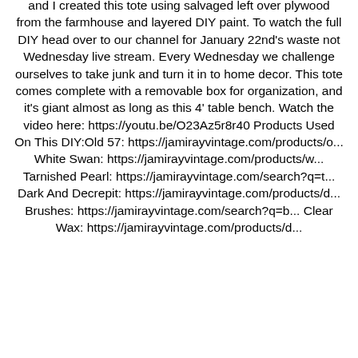and I created this tote using salvaged left over plywood from the farmhouse and layered DIY paint. To watch the full DIY head over to our channel for January 22nd's waste not Wednesday live stream. Every Wednesday we challenge ourselves to take junk and turn it in to home decor. This tote comes complete with a removable box for organization, and it's giant almost as long as this 4' table bench. Watch the video here: https://youtu.be/O23Az5r8r40 Products Used On This DIY:Old 57: https://jamirayvintage.com/products/o... White Swan: https://jamirayvintage.com/products/w... Tarnished Pearl: https://jamirayvintage.com/search?q=t... Dark And Decrepit: https://jamirayvintage.com/products/d... Brushes: https://jamirayvintage.com/search?q=b... Clear Wax: https://jamirayvintage.com/products/d...